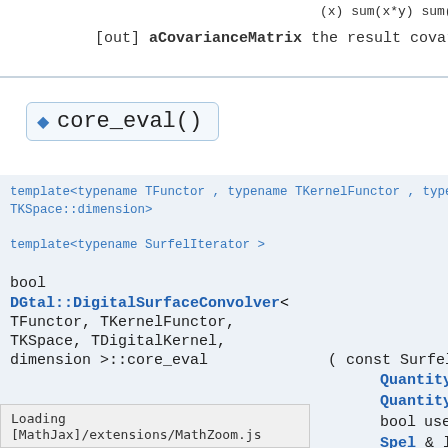(x) sum(x*y) sum(y*y) sum(x*x) ]
[out] aCovarianceMatrix the result covariance matrix
◆ core_eval()
template<typename TFunctor , typename TKernelFunctor , typename TKSpace , typename TDigitalKernel , DGtal::Dimension TKSpace::dimension>
template<typename SurfelIterator >
bool
DGtal::DigitalSurfaceConvolver<
TFunctor, TKernelFunctor,
TKSpace, TDigitalKernel,
dimension >::core_eval ( const SurfelIterator & it,
Quantity & innerSum
Quantity & outerSum
bool useLastR
Spel & lastInnerS
Spel & lastOuter
Loading [MathJax]/extensions/MathZoom.js